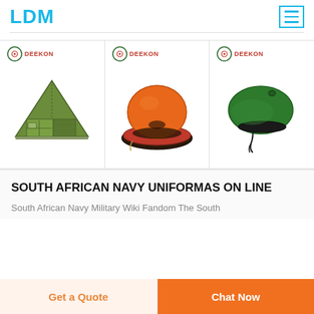LDM
[Figure (photo): Three product images side by side: a green military tent (Deekon branded), an orange inflatable life raft (Deekon branded), and a green military beret (Deekon branded)]
SOUTH AFRICAN NAVY UNIFORMAS ON LINE
South African Navy Military Wiki Fandom The South
Get a Quote
Chat Now